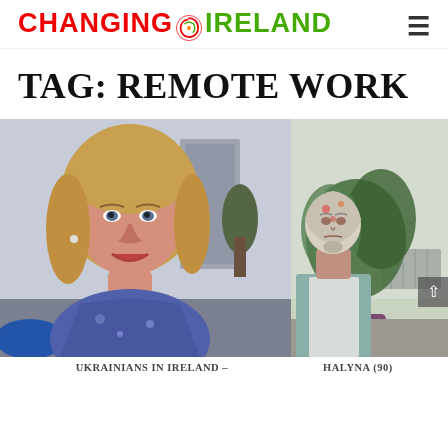Changing Ireland (logo with navigation hamburger menu)
TAG: REMOTE WORK
[Figure (photo): Two-panel photo strip: left panel shows a woman with blonde hair smiling indoors; right panel shows an elderly woman in a headscarf standing next to a large plant in a purple pot]
UKRAINIANS IN IRELAND – HALYNA (90)